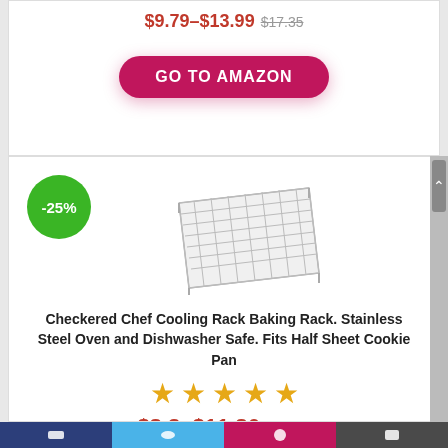$9.79–$13.99 $17.35
GO TO AMAZON
[Figure (illustration): Green circular badge with -25% discount label and product image of a metal cooling/baking rack (stainless steel grid)]
Checkered Chef Cooling Rack Baking Rack. Stainless Steel Oven and Dishwasher Safe. Fits Half Sheet Cookie Pan
[Figure (other): Five orange star rating icons]
$8.3–$11.86 $14.83